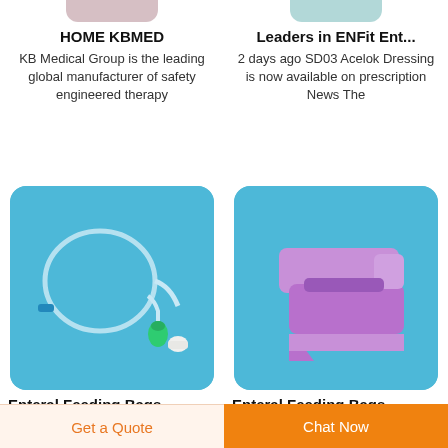HOME KBMED
Leaders in ENFit Ent...
KB Medical Group is the leading global manufacturer of safety engineered therapy
2 days ago SD03 Acelok Dressing is now available on prescription News The
[Figure (photo): Enteral feeding tube/catheter on blue background with green ENFit connector and white cap]
[Figure (photo): Purple/lavender enteral feeding clamp/clip device on blue background]
Enteral Feeding Bags...
Enteral Feeding Bags...